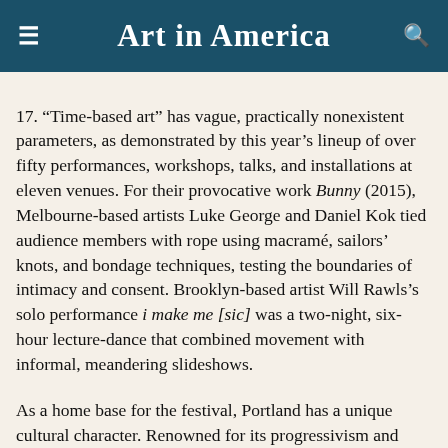Art in America
17. “Time-based art” has vague, practically nonexistent parameters, as demonstrated by this year’s lineup of over fifty performances, workshops, talks, and installations at eleven venues. For their provocative work Bunny (2015), Melbourne-based artists Luke George and Daniel Kok tied audience members with rope using macramé, sailors’ knots, and bondage techniques, testing the boundaries of intimacy and consent. Brooklyn-based artist Will Rawls’s solo performance i make me [sic] was a two-night, six-hour lecture-dance that combined movement with informal, meandering slideshows.
As a home base for the festival, Portland has a unique cultural character. Renowned for its progressivism and